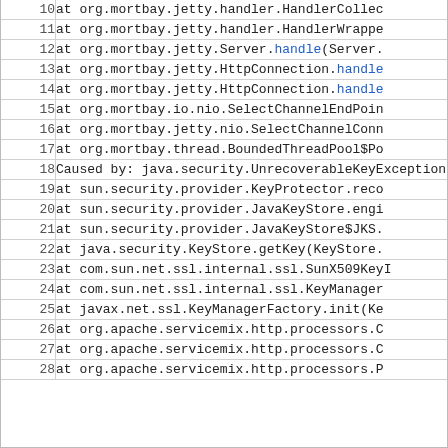| line | code |
| --- | --- |
| 10 |     at org.mortbay.jetty.handler.HandlerCollec |
| 11 |     at org.mortbay.jetty.handler.HandlerWrappe |
| 12 |     at org.mortbay.jetty.Server.handle(Server. |
| 13 |     at org.mortbay.jetty.HttpConnection.handle |
| 14 |     at org.mortbay.jetty.HttpConnection.handle |
| 15 |     at org.mortbay.io.nio.SelectChannelEndPoin |
| 16 |     at org.mortbay.jetty.nio.SelectChannelConn |
| 17 |     at org.mortbay.thread.BoundedThreadPool$Po |
| 18 | Caused by: java.security.UnrecoverableKeyException |
| 19 |     at sun.security.provider.KeyProtector.reco |
| 20 |     at sun.security.provider.JavaKeyStore.engi |
| 21 |     at sun.security.provider.JavaKeyStore$JKS. |
| 22 |     at java.security.KeyStore.getKey(KeyStore. |
| 23 |     at com.sun.net.ssl.internal.ssl.SunX509KeyI |
| 24 |     at com.sun.net.ssl.internal.ssl.KeyManager |
| 25 |     at javax.net.ssl.KeyManagerFactory.init(Ke |
| 26 |     at org.apache.servicemix.http.processors.C |
| 27 |     at org.apache.servicemix.http.processors.C |
| 28 |     at org.apache.servicemix.http.processors.P |